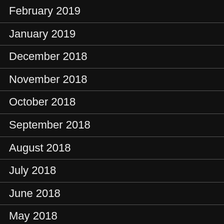February 2019
January 2019
December 2018
November 2018
October 2018
September 2018
August 2018
July 2018
June 2018
May 2018
April 2018
February 2018
January 2018